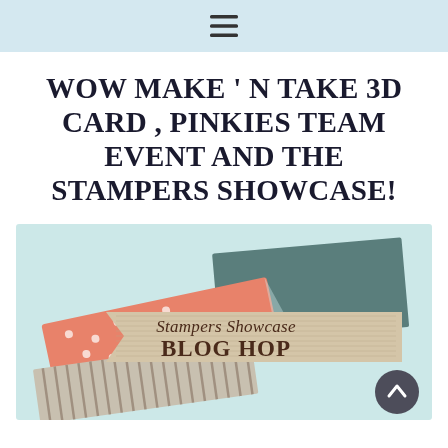☰
WOW MAKE ' N TAKE 3D CARD , PINKIES TEAM EVENT AND THE STAMPERS SHOWCASE!
[Figure (illustration): Stampers Showcase Blog Hop banner image featuring overlapping ribbon/banner shapes in coral/pink with white polka dots, teal/dark green, and a kraft/burlap-style center banner reading 'Stampers Showcase BLOG HOP' on a light blue background. A dark circular scroll-to-top button is in the bottom right corner.]